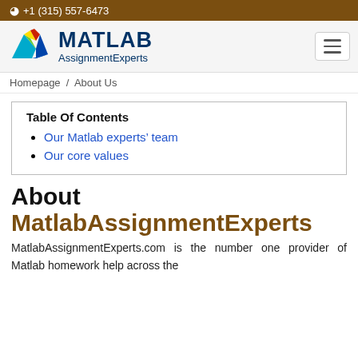⊙ +1 (315) 557-6473
[Figure (logo): MATLAB AssignmentExperts logo with colorful MATLAB triangular logo mark and dark blue bold MATLAB text with AssignmentExperts subtitle]
Homepage / About Us
Our Matlab experts' team
Our core values
About MatlabAssignmentExperts
MatlabAssignmentExperts.com is the number one provider of Matlab homework help across the